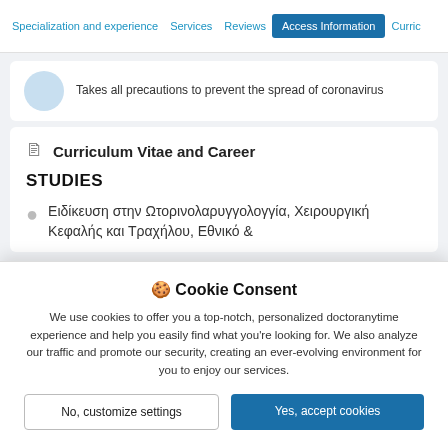Specialization and experience | Services | Reviews | Access Information | Curric...
Takes all precautions to prevent the spread of coronavirus
Curriculum Vitae and Career
STUDIES
Ειδίκευση στην Ωτορινολαρυγγολογγία, Χειρουργική Κεφαλής και Τραχήλου, Εθνικό &
🍪 Cookie Consent
We use cookies to offer you a top-notch, personalized doctoranytime experience and help you easily find what you're looking for. We also analyze our traffic and promote our security, creating an ever-evolving environment for you to enjoy our services.
No, customize settings
Yes, accept cookies